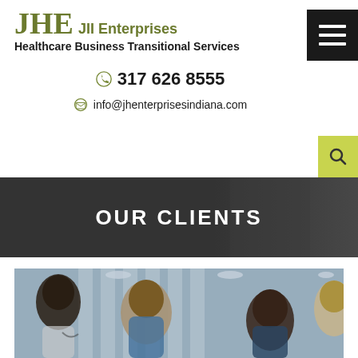JHE JII Enterprises Healthcare Business Transitional Services
317 626 8555
info@jhenterprisesindiana.com
OUR CLIENTS
[Figure (photo): Group of healthcare professionals in discussion in a medical facility]